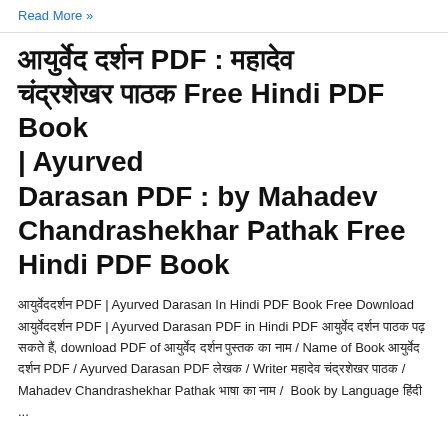Read More »
आयुर्वेद दर्शन PDF : महादेव चंद्रशेखर पाठक Free Hindi PDF Book | Ayurved Darasan PDF : by Mahadev Chandrashekhar Pathak Free Hindi PDF Book
आयुर्वेद दर्शन PDF | Ayurved Darasan In Hindi PDF Book Free Download आयुर्वेद दर्शन PDF | Ayurved Darasan PDF in Hindi PDF आयुर्वेद दर्शन पाठक पढ़ सकते हैं, download PDF of आयुर्वेद दर्शन पुस्तक का नाम / Name of Book आयुर्वेद दर्शन PDF / Ayurved Darasan PDF लेखक / Writer महादेव चंद्रशेखर पाठक / Mahadev Chandrashekhar Pathak भाषा का नाम /  Book by Language हिंदी ...